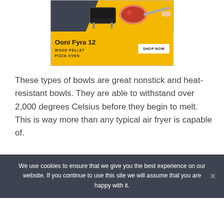[Figure (photo): Advertisement for Ooni Fyra 12 Wood Pellet Pizza Oven. Yellow and dark background with pizza oven image. 'Ooni Fyra 12' title, 'WOOD PELLET PIZZA OVEN' subtitle, and 'SHOP NOW' button.]
These types of bowls are great nonstick and heat-resistant bowls. They are able to withstand over 2,000 degrees Celsius before they begin to melt. This is way more than any typical air fryer is capable of.
We use cookies to ensure that we give you the best experience on our website. If you continue to use this site we will assume that you are happy with it.